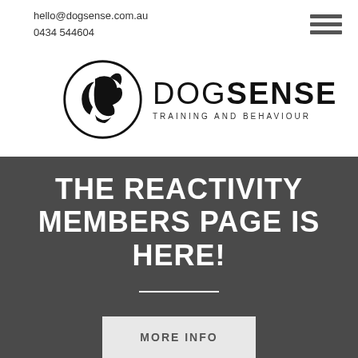hello@dogsense.com.au
0434 544604
[Figure (logo): DogSense Training and Behaviour logo: circular emblem with silhouettes of a dog and human face, next to bold text DOGSENSE with tagline TRAINING AND BEHAVIOUR]
THE REACTIVITY MEMBERS PAGE IS HERE!
MORE INFO